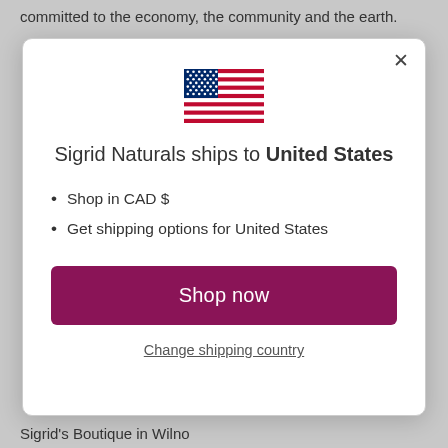committed to the economy, the community and the earth.
[Figure (other): US flag icon — rectangular flag with blue canton with white stars and red and white horizontal stripes]
Sigrid Naturals ships to United States
Shop in CAD $
Get shipping options for United States
Shop now
Change shipping country
Sigrid's Boutique in Wilno